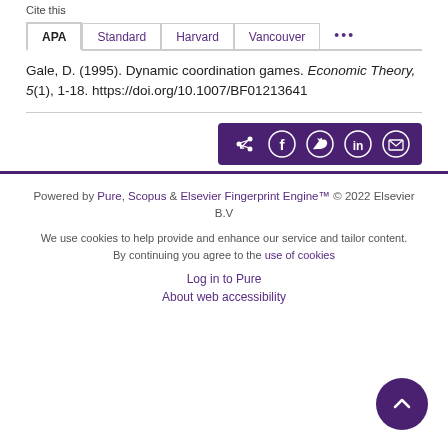Cite this
APA | Standard | Harvard | Vancouver | ...
Gale, D. (1995). Dynamic coordination games. Economic Theory, 5(1), 1-18. https://doi.org/10.1007/BF01213641
[Figure (other): Share icons bar with share, Facebook, Twitter, LinkedIn, and email icons on purple background]
Powered by Pure, Scopus & Elsevier Fingerprint Engine™ © 2022 Elsevier B.V
We use cookies to help provide and enhance our service and tailor content. By continuing you agree to the use of cookies
Log in to Pure
About web accessibility